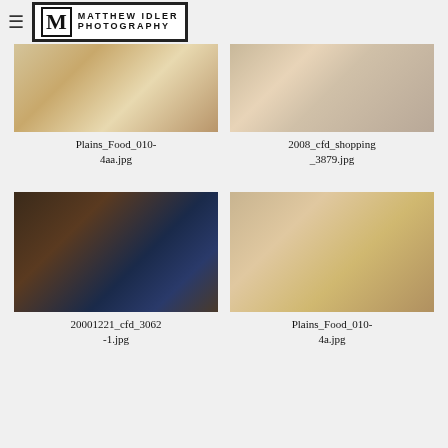Matthew Idler Photography
[Figure (photo): Food dish with scallops, grains and herbs on a white plate]
Plains_Food_010-4aa.jpg
[Figure (photo): Two women at a shopping event wearing cowboy hats]
2008_cfd_shopping_3879.jpg
[Figure (photo): Two rodeo caps/hats on hay bales with rope in background]
20001221_cfd_3062-1.jpg
[Figure (photo): Food dish with scallops, grains and herbs garnished with rosemary on a white plate]
Plains_Food_010-4a.jpg